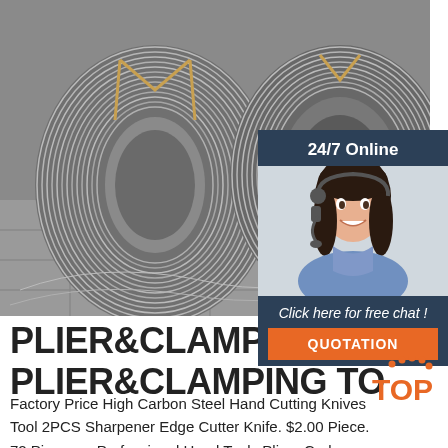[Figure (photo): Large coils of galvanized steel wire stacked on a warehouse floor]
[Figure (photo): 24/7 Online customer service panel with a woman wearing a headset, and a QUOTATION button]
PLIER&CLAMPING TO PLIER&CLAMPING TO
Factory Price High Carbon Steel Hand Cutting Knives Tool 2PCS Sharpener Edge Cutter Knife. $2.00 Piece. 72 Pieces ... Professional Hand Tools Pliers Carbon Steel Multi Combination Long Nose Plier. $1.60 Piece. 1000 Pieces ...
[Figure (logo): TOP badge with orange dots and orange TOP text]